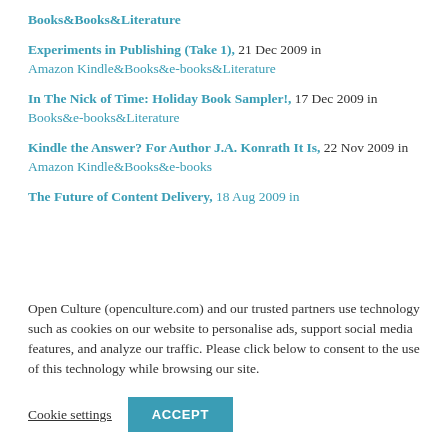Books&Books&Literature
Experiments in Publishing (Take 1), 21 Dec 2009 in Amazon Kindle&Books&e-books&Literature
In The Nick of Time: Holiday Book Sampler!, 17 Dec 2009 in Books&e-books&Literature
Kindle the Answer? For Author J.A. Konrath It Is, 22 Nov 2009 in Amazon Kindle&Books&e-books
The Future of Content Delivery, 18 Aug 2009 in
Open Culture (openculture.com) and our trusted partners use technology such as cookies on our website to personalise ads, support social media features, and analyze our traffic. Please click below to consent to the use of this technology while browsing our site.
Cookie settings   ACCEPT